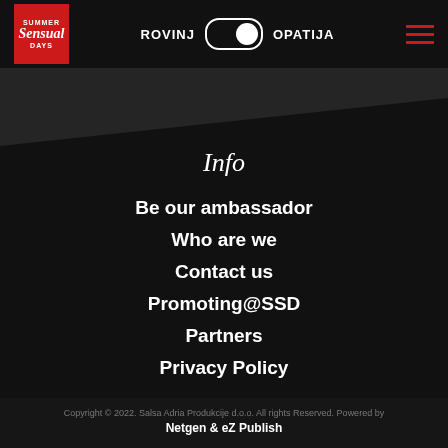[Figure (logo): Summer Sensual Days logo — red square with white text]
ROVINJ   OPATIJA (toggle switch)
Info
Be our ambassador
Who are we
Contact us
Promoting@SSD
Partners
Privacy Policy
Copyright © 2022. Salsa Adria Produkcije d.o.o. All rights Reserved. Powered by Netgen & eZ Publish